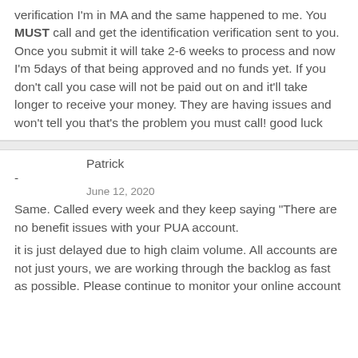verification I'm in MA and the same happened to me. You MUST call and get the identification verification sent to you. Once you submit it will take 2-6 weeks to process and now I'm 5days of that being approved and no funds yet. If you don't call you case will not be paid out on and it'll take longer to receive your money. They are having issues and won't tell you that's the problem you must call! good luck
Patrick
-
June 12, 2020
Same. Called every week and they keep saying "There are no benefit issues with your PUA account.
it is just delayed due to high claim volume. All accounts are not just yours, we are working through the backlog as fast as possible. Please continue to monitor your online account